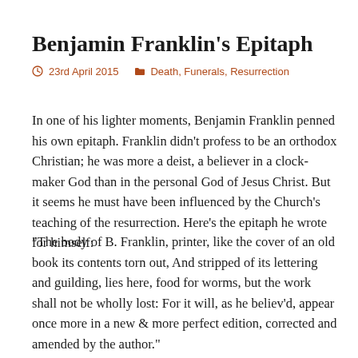Benjamin Franklin's Epitaph
23rd April 2015    Death, Funerals, Resurrection
In one of his lighter moments, Benjamin Franklin penned his own epitaph. Franklin didn't profess to be an orthodox Christian; he was more a deist, a believer in a clock-maker God than in the personal God of Jesus Christ. But it seems he must have been influenced by the Church's teaching of the resurrection. Here's the epitaph he wrote for himself:
“The body of B. Franklin, printer, like the cover of an old book its contents torn out, And stripped of its lettering and guilding, lies here, food for worms, but the work shall not be wholly lost: For it will, as he believ’d, appear once more in a new & more perfect edition, corrected and amended by the author.”